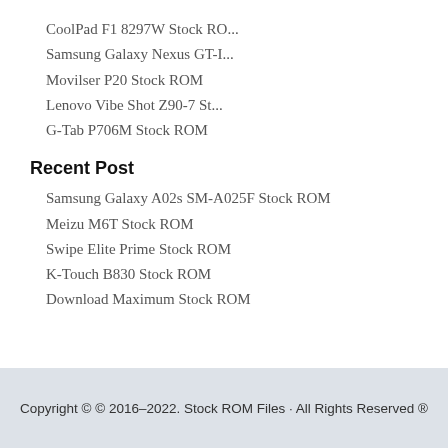CoolPad F1 8297W Stock RO...
Samsung Galaxy Nexus GT-I...
Movilser P20 Stock ROM
Lenovo Vibe Shot Z90-7 St...
G-Tab P706M Stock ROM
Recent Post
Samsung Galaxy A02s SM-A025F Stock ROM
Meizu M6T Stock ROM
Swipe Elite Prime Stock ROM
K-Touch B830 Stock ROM
Download Maximum Stock ROM
Copyright © © 2016–2022. Stock ROM Files · All Rights Reserved ®